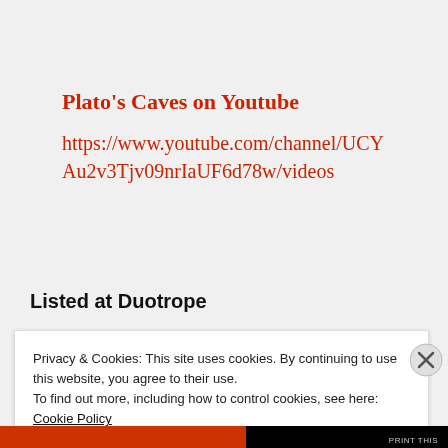Plato's Caves on Youtube
https://www.youtube.com/channel/UCYAu2v3Tjv09nrIaUF6d78w/videos
Listed at Duotrope
Privacy & Cookies: This site uses cookies. By continuing to use this website, you agree to their use.
To find out more, including how to control cookies, see here: Cookie Policy
Close and accept